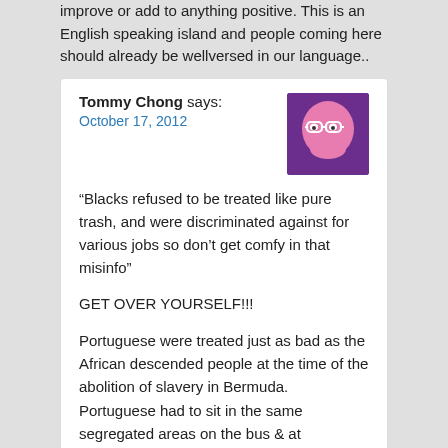improve or add to anything positive. This is an English speaking island and people coming here should already be wellversed in our language..
Tommy Chong says:
October 17, 2012

“Blacks refused to be treated like pure trash, and were discriminated against for various jobs so don’t get comfy in that misinfo”

GET OVER YOURSELF!!!

Portuguese were treated just as bad as the African descended people at the time of the abolition of slavery in Bermuda. Portuguese had to sit in the same segregated areas on the bus & at Rosebank Theatre or anywhere else as the African descended people. Many when they came to Bermuda were either shoved into a building termed the incubator with other local derelicts or put in a barn with no beds just cold hard concrete floors to sleep on.

They didn’t refuse to speak english they just couldn’t because they were work hands not scholars with little or no education. Despite this they assimilated very well into